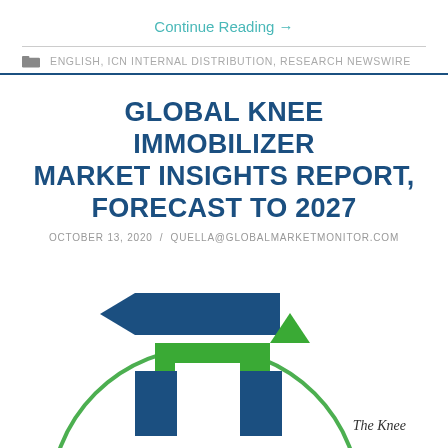Continue Reading →
ENGLISH, ICN INTERNAL DISTRIBUTION, RESEARCH NEWSWIRE
GLOBAL KNEE IMMOBILIZER MARKET INSIGHTS REPORT, FORECAST TO 2027
OCTOBER 13, 2020 / QUELLA@GLOBALMARKETMONITOR.COM
[Figure (logo): Global Market Monitor logo inside a circle with blue and green geometric M-shaped arrow icon. Text 'The Knee' visible at bottom right.]